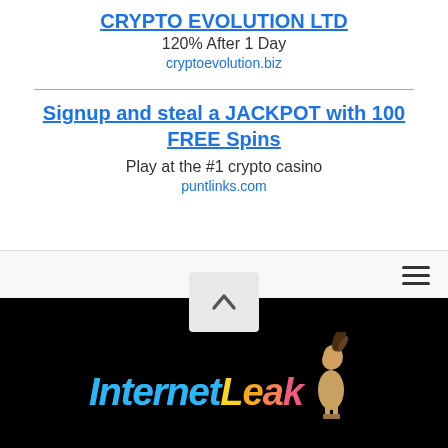CRYPTO EVOLUTION LTD
120% After 1 Day
cryptoevolution.biz
Signup and steal a JACKPOT with 100 FREE Spins
Play at the #1 crypto casino
puntlinks.com
[Figure (logo): Internet Leak logo with blue italic 'Internet' text, yellow-orange 'Leak' text, and a female mascot figure on black background]